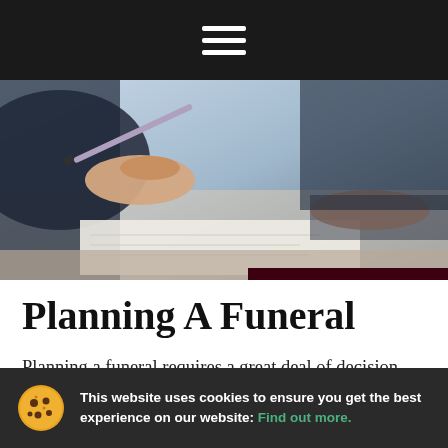≡ (hamburger menu)
[Figure (photo): Close-up photo of a person's hands holding a pen, signing or reviewing documents on a desk]
Planning A Funeral
Planning a funeral requires a great deal of decision making. If the deceased has a funeral plan in place, some of the planning responsibility may already be taken care of. Otherwise, you will need to decide on the type of funeral, transportation options, your
This website uses cookies to ensure you get the best experience on our website: Find out more.